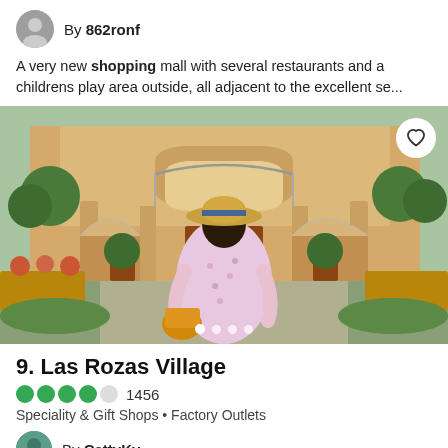By 862ronf
A very new shopping mall with several restaurants and a childrens play area outside, all adjacent to the excellent se...
[Figure (photo): Outdoor photo of Las Rozas Village shopping area: a woman in a pink floral dress and straw hat walks toward a yellow European-style building with archways, potted trees, and garden planters in a sunny courtyard.]
9. Las Rozas Village
1456
Speciality & Gift Shops • Factory Outlets
By CattyKy